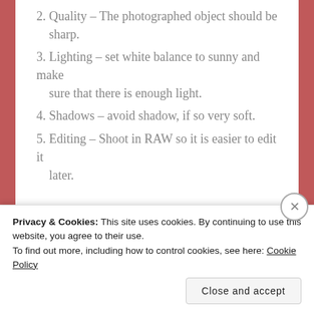2. Quality – The photographed object should be sharp.
3. Lighting – set white balance to sunny and make sure that there is enough light.
4. Shadows – avoid shadow, if so very soft.
5. Editing – Shoot in RAW so it is easier to edit it later.
Continue reading →
Privacy & Cookies: This site uses cookies. By continuing to use this website, you agree to their use.
To find out more, including how to control cookies, see here: Cookie Policy
Close and accept